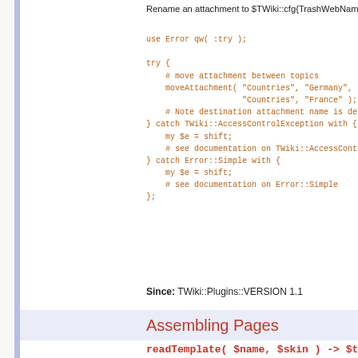Rename an attachment to $TWiki::cfg{TrashWebName}.Tras
use Error qw( :try );

try {
    # move attachment between topics
    moveAttachment( "Countries", "Germany", "AlsaceLorra
                    "Countries", "France" );
    # Note destination attachment name is defaulted to t
} catch TWiki::AccessControlException with {
    my $e = shift;
    # see documentation on TWiki::AccessControlException
} catch Error::Simple with {
    my $e = shift;
    # see documentation on Error::Simple
};
Since: TWiki::Plugins::VERSION 1.1
Assembling Pages
readTemplate( $name, $skin ) -> $text